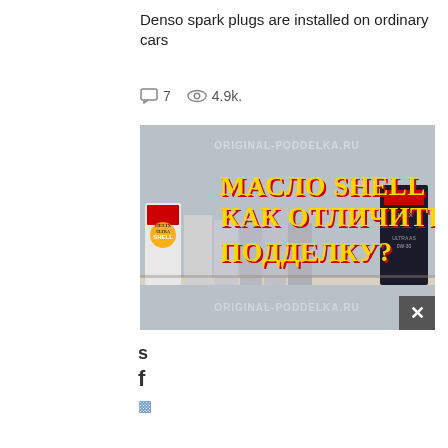Denso spark plugs are installed on ordinary cars
7 comments  4.9k. views
[Figure (photo): Thumbnail image showing Shell Helix motor oil bottles on a shelf with Russian text overlay reading 'МАСЛО SHELL КАК ОТЛИЧИТЬ ПОДДЕЛКУ?' (Shell oil - how to distinguish a fake?) and watermark 'ORIGINAL-PODDELKA.RU']
S
f
[vk icon]